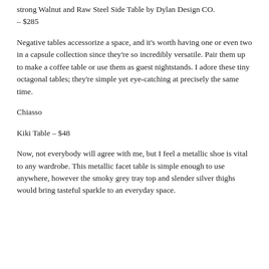strong Walnut and Raw Steel Side Table by Dylan Design Co. – $285
Negative tables accessorize a space, and it's worth having one or even two in a capsule collection since they're so incredibly versatile. Pair them up to make a coffee table or use them as guest nightstands. I adore these tiny octagonal tables; they're simple yet eye-catching at precisely the same time.
Chiasso
Kiki Table – $48
Now, not everybody will agree with me, but I feel a metallic shoe is vital to any wardrobe. This metallic facet table is simple enough to use anywhere, however the smoky grey tray top and slender silver thighs would bring tasteful sparkle to an everyday space.